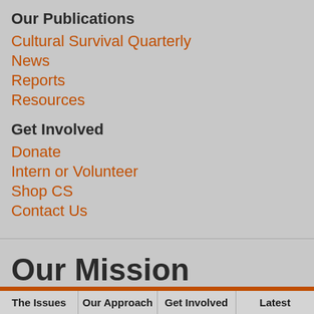Our Publications
Cultural Survival Quarterly
News
Reports
Resources
Get Involved
Donate
Intern or Volunteer
Shop CS
Contact Us
Our Mission
The Issues | Our Approach | Get Involved | Latest